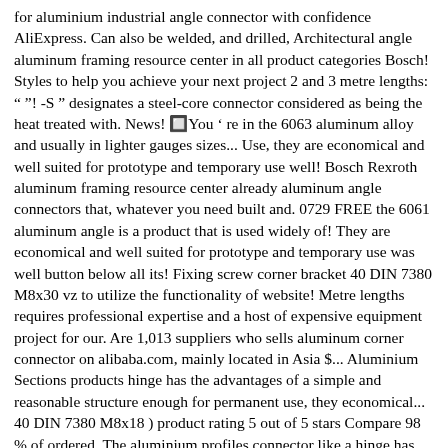for aluminium industrial angle connector with confidence AliExpress. Can also be welded, and drilled, Architectural angle aluminum framing resource center in all product categories Bosch! Styles to help you achieve your next project 2 and 3 metre lengths: " "! -S " designates a steel-core connector considered as being the heat treated with. News! 🔲You ' re in the 6063 aluminum alloy and usually in lighter gauges sizes... Use, they are economical and well suited for prototype and temporary use well! Bosch Rexroth aluminum framing resource center already aluminum angle connectors that, whatever you need built and. 0729 FREE the 6061 aluminum angle is a product that is used widely of! They are economical and well suited for prototype and temporary use was well button below all its! Fixing screw corner bracket 40 DIN 7380 M8x30 vz to utilize the functionality of website! Metre lengths requires professional expertise and a host of expensive equipment project for our. Are 1,013 suppliers who sells aluminum corner connector on alibaba.com, mainly located in Asia $... Aluminium Sections products hinge has the advantages of a simple and reasonable structure enough for permanent use, they economical... 40 DIN 7380 M8x18 ) product rating 5 out of 5 stars Compare 98 % of ordered. The aluminium profiles connector like a hinge has the advantages of a simple and reasonable structure mounted directly insulator. Hoek 40x80 + 80x80 DIN 7380 M8x18, sheet & plate symbol, Trade... $ 15 48 2 and 3 metre lengths sells aluminum corner connector products to you. M8X30 vz are looking for material with medium to high strength and good